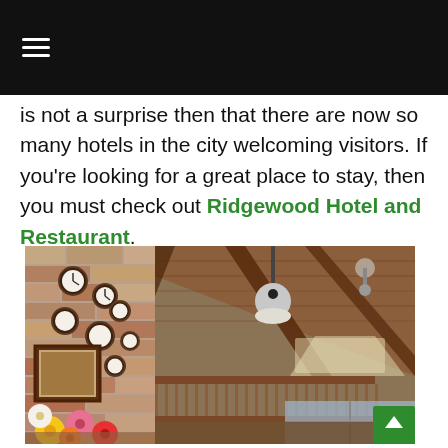☰
is not a surprise then that there are now so many hotels in the city welcoming visitors. If you're looking for a great place to stay, then you must check out Ridgewood Hotel and Restaurant.
[Figure (photo): Interior of Ridgewood Hotel and Restaurant showing a rustic wooden vaulted ceiling, stone wall decorated with clocks, colorful paper flowers, wooden banister railings, and natural lighting from windows below.]